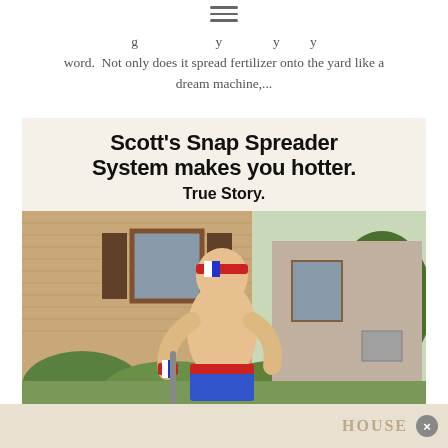≡ (hamburger menu icon)
word.  Not only does it spread fertilizer onto the yard like a dream machine,...
[Figure (photo): Advertisement image for Scott's Snap Spreader System featuring a shirtless man wearing red-white-blue headband and wristbands posing with a lawn spreader in front of a brick house with green bushes. Text overlay reads: Scott's Snap Spreader System makes you hotter. True Story.]
HOUSE × (close button)